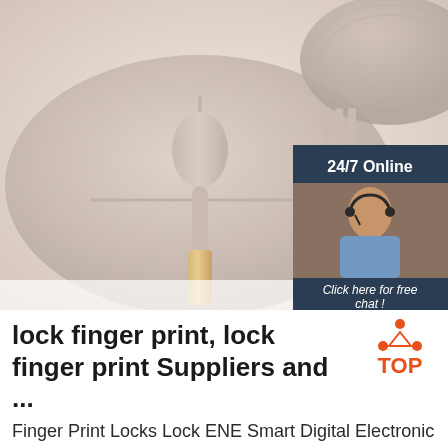[Figure (photo): Photo of a mauve/beige silicone children's dinnerware set including a divided suction plate, bowl, wooden-handled spoon and fork. An overlay advertisement widget in the top-right shows '24/7 Online', a photo of a female customer service agent with headset, 'Click here for free chat!', and an orange 'QUOTATION' button.]
lock finger print, lock finger print Suppliers and ...
Finger Print Locks Lock ENE Smart Digital Electronic Keyless Waterproof Finger Print